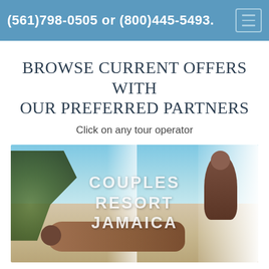(561)798-0505 or (800)445-5493.
BROWSE CURRENT OFFERS WITH OUR PREFERRED PARTNERS
Click on any tour operator
[Figure (photo): Spa massage scene at Couples Resort Jamaica with overlay text reading COUPLES RESORT JAMAICA]
[Figure (photo): Partial bottom strip showing person wearing a hat, another travel partner image]